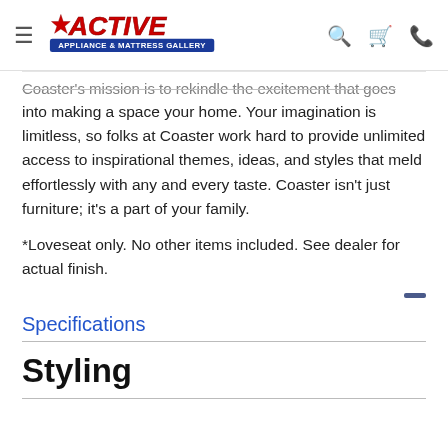Active Appliance & Mattress Gallery
Coaster's mission is to rekindle the excitement that goes into making a space your home. Your imagination is limitless, so folks at Coaster work hard to provide unlimited access to inspirational themes, ideas, and styles that meld effortlessly with any and every taste. Coaster isn't just furniture; it's a part of your family.
*Loveseat only. No other items included. See dealer for actual finish.
Specifications
Styling